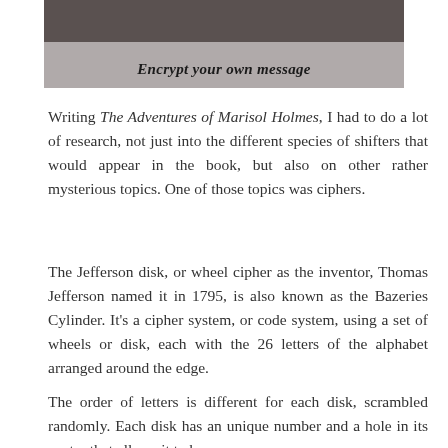[Figure (photo): A close-up photo with text overlay reading 'Encrypt your own message' in italic bold style over a blurred background with letters visible at top.]
Writing The Adventures of Marisol Holmes, I had to do a lot of research, not just into the different species of shifters that would appear in the book, but also on other rather mysterious topics. One of those topics was ciphers.
The Jefferson disk, or wheel cipher as the inventor, Thomas Jefferson named it in 1795, is also known as the Bazeries Cylinder. It's a cipher system, or code system, using a set of wheels or disk, each with the 26 letters of the alphabet arranged around the edge.
The order of letters is different for each disk, scrambled randomly. Each disk has an unique number and a hole in its center that allows it to be